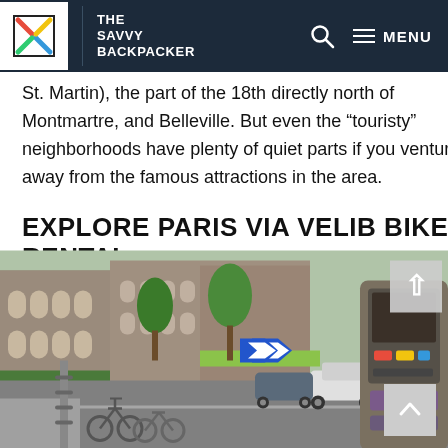THE SAVVY BACKPACKER
St. Martin), the part of the 18th directly north of Montmartre, and Belleville. But even the “touristy” neighborhoods have plenty of quiet parts if you venture away from the famous attractions in the area.
EXPLORE PARIS VIA VELIB BIKE RENTAL
[Figure (photo): Street-level photo of a Velib bike rental station in Paris, showing multiple bicycles docked at a rack along a Parisian street with cars, buildings with arched facades, trees, and a rental kiosk machine in the foreground right.]